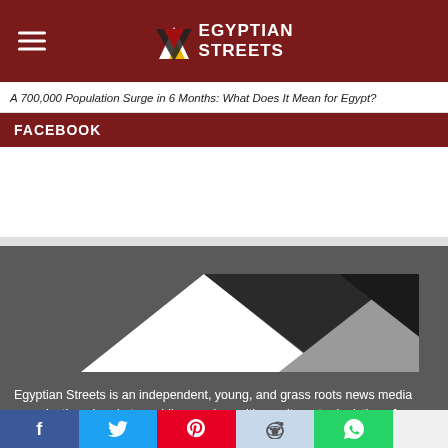Egyptian Streets
A 700,000 Population Surge in 6 Months: What Does It Mean for Egypt?
FACEBOOK
[Figure (logo): Egyptian Streets logo with geometric triangles in dark/gray/white colors]
Egyptian Streets is an independent, young, and grass roots news media organization aimed at providing readers with an alternate depiction of events that occur on Egyptian and Middle Eastern streets, and to establish an engaging social platform for readers to discover and discuss the various issues that impact the region.